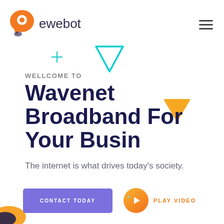[Figure (logo): Ewebot logo: orange speech bubble with white circle, next to text 'ewebot' in dark navy]
[Figure (illustration): Hamburger menu icon (three horizontal lines) in top right corner]
[Figure (illustration): Decorative elements: teal plus sign, cyan downward triangle, orange triangle, dark X mark, and orange/dark blob in bottom-left corner]
WELLCOME TO
Wavenet Broadband For Your Busin
The internet is what drives today's society.
CONTACT TODAY
PLAY VIDEO